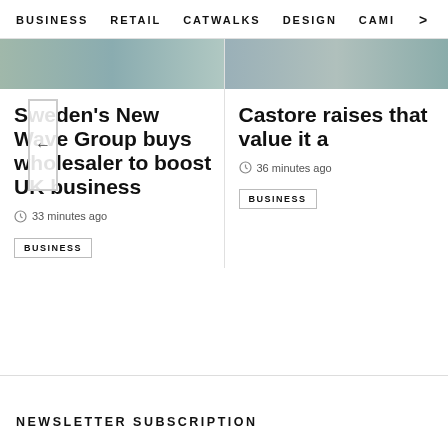BUSINESS   RETAIL   CATWALKS   DESIGN   CAMI  >
[Figure (photo): Partial top of article image for Sweden's New Wave Group article]
Sweden's New Wave Group buys wholesaler to boost UK business
33 minutes ago
BUSINESS
[Figure (photo): Partial top of article image for Castore raises article]
Castore raises that value it a
36 minutes ago
BUSINESS
NEWSLETTER SUBSCRIPTION